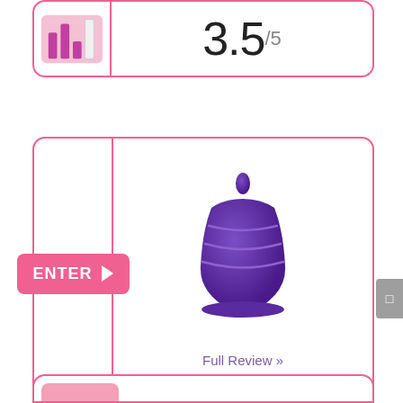[Figure (infographic): Rating icon with bar chart and menstrual cup silhouette on pink background]
3.5/5
[Figure (infographic): Second rating icon with bar chart and menstrual cup silhouette on pink background]
3.5/5
[Figure (photo): Purple menstrual cup product photo]
Full Review »
Click to Enter!
[Figure (infographic): ENTER button with arrow on pink background]
COLORS
[Figure (infographic): Row of colored circle dots representing available colors: white, orange, red, purple, green, black, blue, pink/magenta, light blue, purple, light pink, yellow-green]